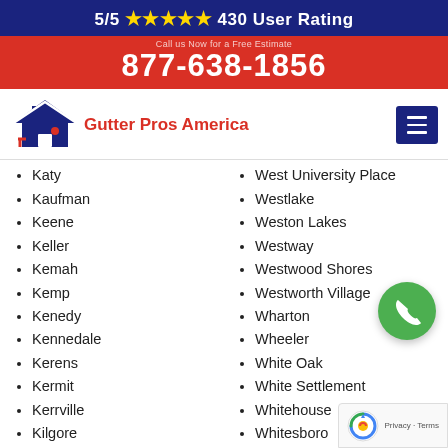5/5 ★★★★★ 430 User Rating
Call us Now for a Free Estimate · 877-638-1856
[Figure (logo): Gutter Pros America logo with house icon]
Katy
Kaufman
Keene
Keller
Kemah
Kemp
Kenedy
Kennedale
Kerens
Kermit
Kerrville
Kilgore
Killeen
West University Place
Westlake
Weston Lakes
Westway
Westwood Shores
Westworth Village
Wharton
Wheeler
White Oak
White Settlement
Whitehouse
Whitesboro
Whitewright